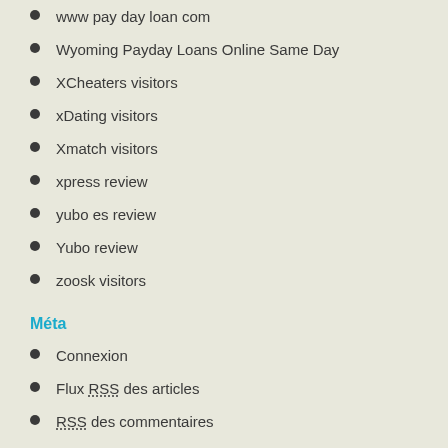www pay day loan com
Wyoming Payday Loans Online Same Day
XCheaters visitors
xDating visitors
Xmatch visitors
xpress review
yubo es review
Yubo review
zoosk visitors
Méta
Connexion
Flux RSS des articles
RSS des commentaires
Site de WordPress-FR